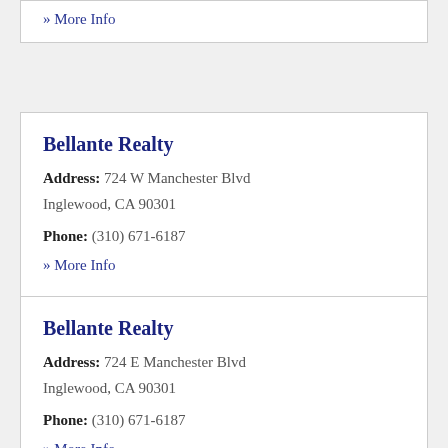» More Info
Bellante Realty
Address: 724 W Manchester Blvd Inglewood, CA 90301
Phone: (310) 671-6187
» More Info
Bellante Realty
Address: 724 E Manchester Blvd Inglewood, CA 90301
Phone: (310) 671-6187
» More Info